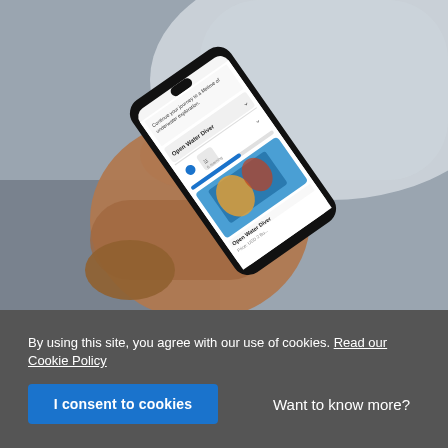[Figure (photo): A hand holding a smartphone displaying a PADI diving app with 'Open Water Diver' course and a colorful underwater photo, photographed in a vehicle interior with grey paneling visible in background.]
By using this site, you agree with our use of cookies. Read our Cookie Policy
I consent to cookies
Want to know more?